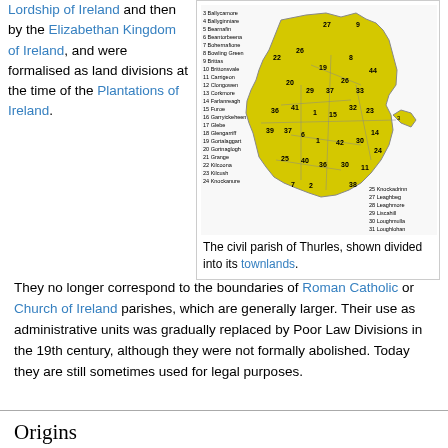Lordship of Ireland and then by the Elizabethan Kingdom of Ireland, and were formalised as land divisions at the time of the Plantations of Ireland.
[Figure (map): Map of the civil parish of Thurles divided into numbered townlands, shown in yellow with internal boundary lines. Left and right legends list townland names numbered 3-44.]
The civil parish of Thurles, shown divided into its townlands.
They no longer correspond to the boundaries of Roman Catholic or Church of Ireland parishes, which are generally larger. Their use as administrative units was gradually replaced by Poor Law Divisions in the 19th century, although they were not formally abolished. Today they are still sometimes used for legal purposes.
Origins